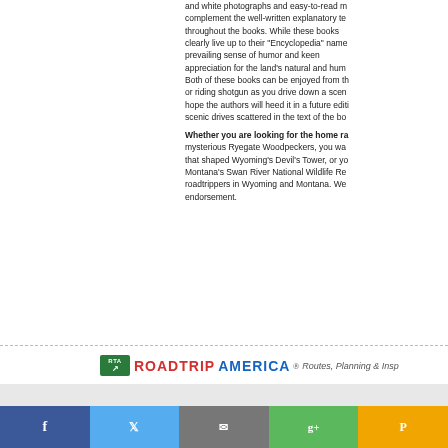and white photographs and easy-to-read maps complement the well-written explanatory text throughout the books. While these books clearly live up to their "Encyclopedia" name, a prevailing sense of humor and keen appreciation for the land's natural and human history. Both of these books can be enjoyed from the armchair or riding shotgun as you drive down a scenic road. We hope the authors will heed it in a future edition — the scenic drives scattered in the text of the bo...
Whether you are looking for the home range of the mysterious Ryegate Woodpeckers, you want to know what shaped Wyoming's Devil's Tower, or you'd like to find Montana's Swan River National Wildlife Refuge, these are roadtrippers in Wyoming and Montana. We give them our endorsement.
[Figure (logo): Roadtrip America logo with green RTA box with arrow, red ROADTRIP and blue AMERICA text, followed by Routes, Planning & Insp... tagline]
Privacy Policy    Copyright 1996 - 20...
                  As an Amazon Associate...